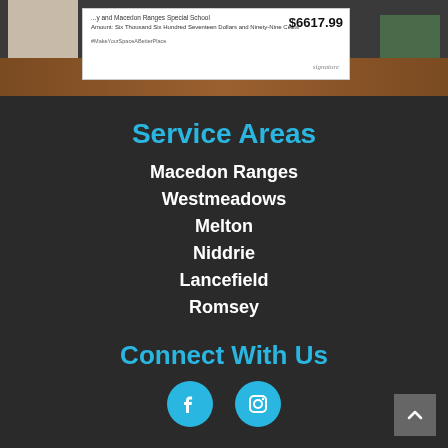[Figure (photo): Photo of people holding a large check for $6617.99 made out to Macedon Ranges Special School with #MakeYourSpaceABetterPlace hashtag visible]
Service Areas
Macedon Ranges
Westmeadows
Melton
Niddrie
Lancefield
Romsey
Connect With Us
[Figure (logo): Facebook and Instagram social media icons in cyan/teal color circles]